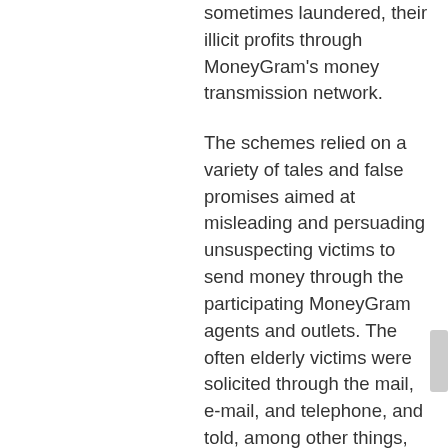sometimes laundered, their illicit profits through MoneyGram's money transmission network.
The schemes relied on a variety of tales and false promises aimed at misleading and persuading unsuspecting victims to send money through the participating MoneyGram agents and outlets. The often elderly victims were solicited through the mail, e-mail, and telephone, and told, among other things, that they had won a lottery, had been hired for a “secret shoppers” program, had been approved for a guaranteed loan, or had been selected to receive an expensive item or cash prize. The victims were told that to receive the item or winnings, they had to pay the perpetrators money in advance. For example, in situations where the